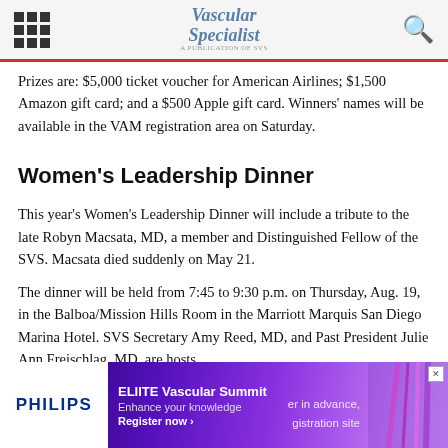Vascular Specialist
Prizes are: $5,000 ticket voucher for American Airlines; $1,500 Amazon gift card; and a $500 Apple gift card. Winners' names will be available in the VAM registration area on Saturday.
Women's Leadership Dinner
This year's Women's Leadership Dinner will include a tribute to the late Robyn Macsata, MD, a member and Distinguished Fellow of the SVS. Macsata died suddenly on May 21.
The dinner will be held from 7:45 to 9:30 p.m. on Thursday, Aug. 19, in the Balboa/Mission Hills Room in the Marriott Marquis San Diego Marina Hotel. SVS Secretary Amy Reed, MD, and Past President Julie Ann Freischlag, MD, are hosts.
[Figure (infographic): PHILIPS ELIITE Vascular Summit advertisement banner. Left: white PHILIPS logo. Center: 'ELIITE Vascular Summit / Enhance your knowledge / Register now ›' on purple gradient background. Right side shows vascular/anatomy imagery with partial text 'er in advance,' and 'gistration site'. Close button (X) top right.]